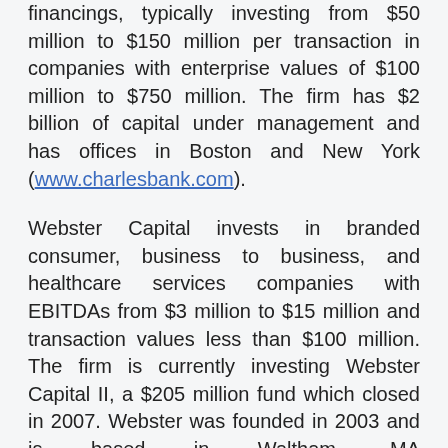financings, typically investing from $50 million to $150 million per transaction in companies with enterprise values of $100 million to $750 million. The firm has $2 billion of capital under management and has offices in Boston and New York (www.charlesbank.com).
Webster Capital invests in branded consumer, business to business, and healthcare services companies with EBITDAs from $3 million to $15 million and transaction values less than $100 million. The firm is currently investing Webster Capital II, a $205 million fund which closed in 2007. Webster was founded in 2003 and is based in Waltham, MA (www.webstercapital.com).
“The merchandising assortment and marketing strategy at OSP resonate with plus-size customers and we look forward to helping the company continue to add to its customer base going forward,” said